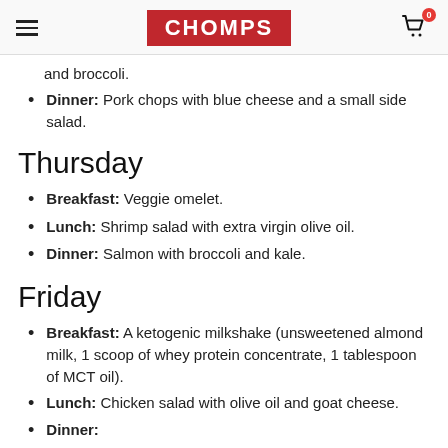CHOMPS
and broccoli.
Dinner: Pork chops with blue cheese and a small side salad.
Thursday
Breakfast: Veggie omelet.
Lunch: Shrimp salad with extra virgin olive oil.
Dinner: Salmon with broccoli and kale.
Friday
Breakfast: A ketogenic milkshake (unsweetened almond milk, 1 scoop of whey protein concentrate, 1 tablespoon of MCT oil).
Lunch: Chicken salad with olive oil and goat cheese.
Dinner: ...